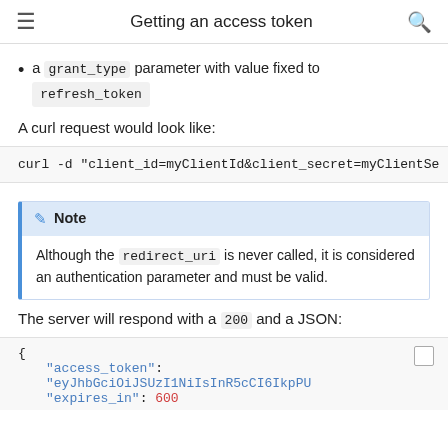Getting an access token
a grant_type parameter with value fixed to refresh_token
A curl request would look like:
curl -d "client_id=myClientId&client_secret=myClientSe
Note
Although the redirect_uri is never called, it is considered an authentication parameter and must be valid.
The server will respond with a 200 and a JSON:
{
    "access_token":  "eyJhbGciOiJSUzI1NiIsInR5cCI6IkpPU
    "expires_in": 600